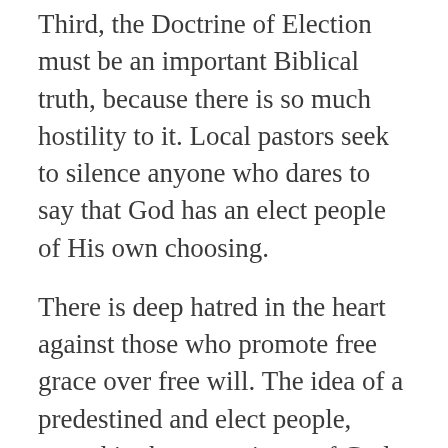Third, the Doctrine of Election must be an important Biblical truth, because there is so much hostility to it. Local pastors seek to silence anyone who dares to say that God has an elect people of His own choosing.
There is deep hatred in the heart against those who promote free grace over free will. The idea of a predestined and elect people, rooted in the sovereignty of God, violates the determined attempt of the human heart to be autonomous, the captain of one’s own soul, the master of one’s own fate. The Natural Man believes, and is encouraged to believe, his eternal salvation is rooted in himself. “You are the master of your destiny. You can influence, direct and control your own